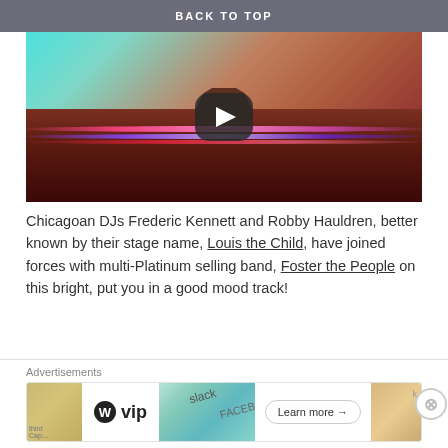BACK TO TOP
[Figure (screenshot): Music video thumbnail showing a desert landscape with a mesa, colorful sky gradient from teal to red, neon light streaks across the foreground, with a YouTube-style play button overlay]
Chicagoan DJs Frederic Kennett and Robby Hauldren, better known by their stage name, Louis the Child, have joined forces with multi-Platinum selling band, Foster the People on this bright, put you in a good mood track!
A perfect choice to listen to on a bright sunny day or for that casual stroll in the park or beachside boardwalk
Advertisements
[Figure (screenshot): WordPress VIP advertisement banner with map imagery, card graphics showing Slack and Facebook logos, and a Learn more button]